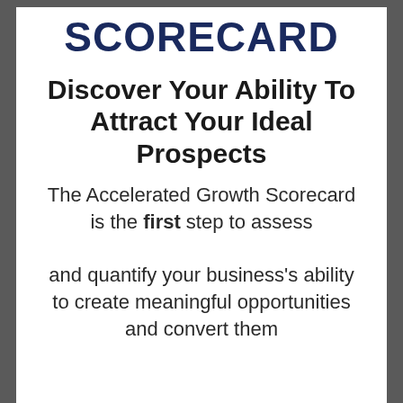SCORECARD
Discover Your Ability To Attract Your Ideal Prospects
The Accelerated Growth Scorecard is the first step to assess and quantify your business's ability to create meaningful opportunities and convert them